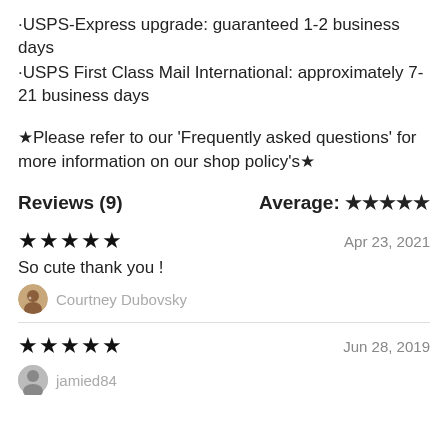·USPS-Express upgrade: guaranteed 1-2 business days
·USPS First Class Mail International: approximately 7-21 business days
★Please refer to our 'Frequently asked questions' for more information on our shop policy's★
Reviews (9)   Average: ★★★★★
★★★★★   Apr 23, 2021
So cute thank you !
Courtney Dubovsky
★★★★★   Jun 28, 2019
jamied84